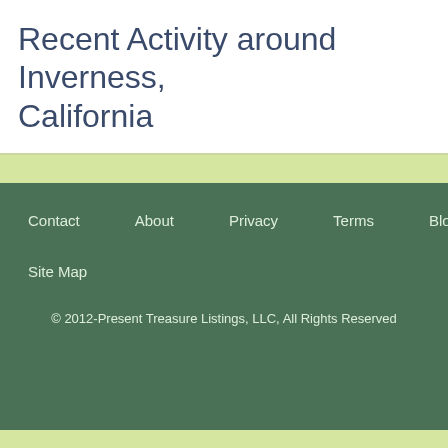Recent Activity around Inverness, California
Contact   About   Privacy   Terms   Blog
Site Map
© 2012-Present Treasure Listings, LLC, All Rights Reserved